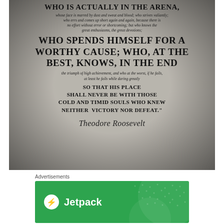[Figure (photo): A stone or paper engraving with the Theodore Roosevelt 'Man in the Arena' quote. Large bold uppercase text alternates with smaller italic script. The quote reads: 'WHO IS ACTUALLY IN THE ARENA, whose face is marred by dust and sweat and blood; who strives valiantly; who errs and comes up short again and again, because there is no effort without error or shortcoming; but who knows the great enthusiasms, the great devotions; WHO SPENDS HIMSELF FOR A WORTHY CAUSE; WHO, AT THE BEST, KNOWS, IN THE END the triumph of high achievement, and who at the worst, if he fails, at least he fails while daring greatly SO THAT HIS PLACE SHALL NEVER BE WITH THOSE COLD AND TIMID SOULS WHO KNEW NEITHER VICTORY NOR DEFEAT.' Signed: Theodore Roosevelt]
Advertisements
[Figure (logo): Jetpack advertisement banner with green background, circular decorative elements, Jetpack logo (white circle with lightning bolt) and 'Jetpack' text in white.]